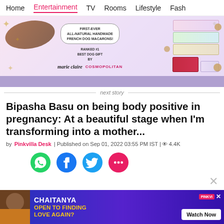Home | Entertainment | TV | Rooms | Lifestyle | Fash
[Figure (photo): Advertisement banner for French dog macarons product. Pink/lavender background with macaron boxes stacked. Text reads: FIRST-EVER ALL-NATURAL HANDMADE FRENCH DOG MACARONS! RANKED #1 BEST DOG GIFT BY marie claire COSMOPOLITAN]
next story
Bipasha Basu on being body positive in pregnancy: At a beautiful stage when I'm transforming into a mother...
by Pinkvilla Desk | Published on Sep 01, 2022 03:55 PM IST | 4.4K
[Figure (infographic): Social sharing icons: WhatsApp (green), Facebook (blue), Twitter (cyan), Chat/Comment (pink/red)]
[Figure (photo): Bottom advertisement: CHAITANYA - OPEN TO FINDING LOVE AGAIN? with Watch Now button and Pinkvilla branding]